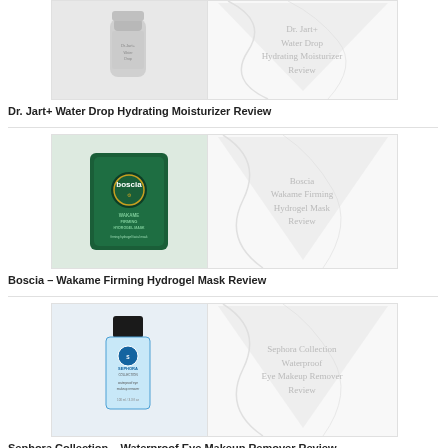[Figure (photo): Dr. Jart+ Water Drop Hydrating Moisturizer product image with title overlay on marble background]
Dr. Jart+ Water Drop Hydrating Moisturizer Review
[Figure (photo): Boscia Wakame Firming Hydrogel Mask product image with title overlay on marble background]
Boscia – Wakame Firming Hydrogel Mask Review
[Figure (photo): Sephora Collection Waterproof Eye Makeup Remover product image with title overlay on marble background]
Sephora Collection – Waterproof Eye Makeup Remover Review